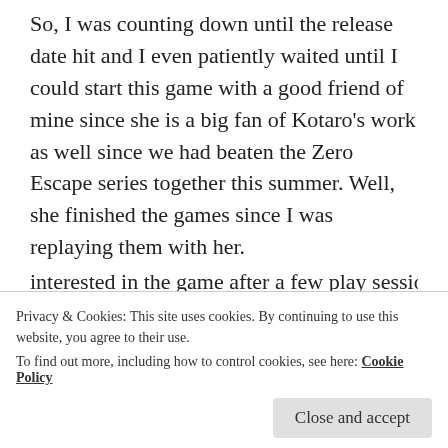So, I was counting down until the release date hit and I even patiently waited until I could start this game with a good friend of mine since she is a big fan of Kotaro’s work as well since we had beaten the Zero Escape series together this summer. Well, she finished the games since I was replaying them with her.
When the game started, we noticed all the little nods to his previous work. The subtle references in the story and the sound effects being reused. It was an amazing feeling.
At first, the story was a bit mediocre. But, then a sudden plot twist changed everything. That friend wasn’t interested in the game after a few play sessions but when
Privacy & Cookies: This site uses cookies. By continuing to use this website, you agree to their use.
To find out more, including how to control cookies, see here: Cookie Policy
week off in November. A few times, I had to put the